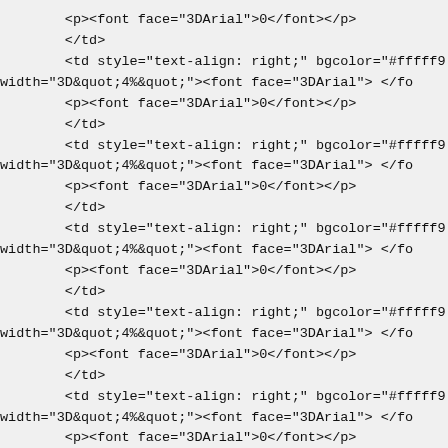<p><font face="3DArial">0</font></p>
</td>
<td style="text-align: right;" bgcolor="#fffff9 width="3D&quot;4%&quot;"><font face="3DArial"> </fo
    <p><font face="3DArial">0</font></p>
    </td>
    <td style="text-align: right;" bgcolor="#fffff9 width="3D&quot;4%&quot;"><font face="3DArial"> </fo
        <p><font face="3DArial">0</font></p>
        </td>
        <td style="text-align: right;" bgcolor="#fffff9 width="3D&quot;4%&quot;"><font face="3DArial"> </fo
            <p><font face="3DArial">0</font></p>
            </td>
            <td style="text-align: right;" bgcolor="#fffff9 width="3D&quot;4%&quot;"><font face="3DArial"> </fo
                <p><font face="3DArial">0</font></p>
                </td>
                <td style="text-align: right;" bgcolor="#fffff9 width="3D&quot;4%&quot;"><font face="3DArial"> </fo
                    <p><font face="3DArial">0</font></p>
                    </td>
                    <td style="text-align: right;" bgcolor="#fffff9 width="3D&quot;4%&quot;"><font face="3DArial"> </fo